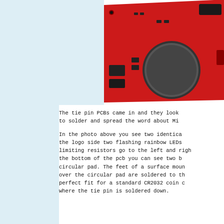[Figure (photo): A red PCB (printed circuit board) for a tie pin, showing the back side with a large circular pad for a CR2032 coin cell battery, rectangular pads, small component pads, and mounting points visible on the red board.]
The tie pin PCBs came in and they look to solder and spread the word about Mi
In the photo above you see two identica the logo side two flashing rainbow LEDs limiting resistors go to the left and righ the bottom of the pcb you can see two b circular pad. The feet of a surface moun over the circular pad are soldered to th perfect fit for a standard CR2032 coin c where the tie pin is soldered down.